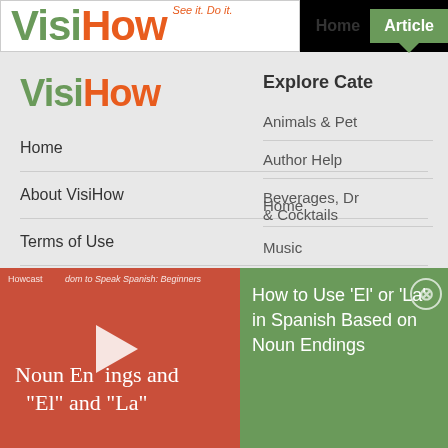[Figure (logo): VisiHow logo with 'See it. Do it.' tagline - Visi in green, How in orange]
Home
Article
[Figure (logo): VisiHow inner logo - Visi in green, How in orange]
Home
About VisiHow
Terms of Use
Privacy Policy
Site map
Explore Cate
Animals & Pet
Author Help
Beverages, Dr & Cocktails
[Figure (screenshot): Video thumbnail showing 'Noun Endings and El and La' on red background with play button]
How to Use 'El' or 'La' in Spanish Based on Noun Endings
Home
Music